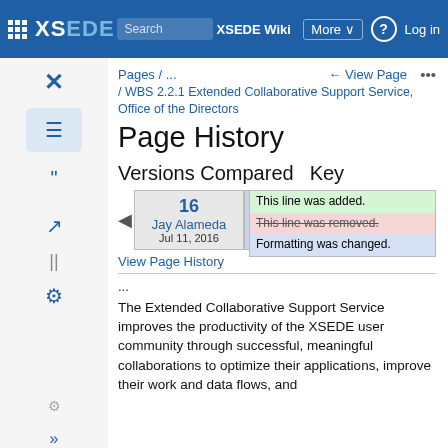XSEDE Wiki | Search XSEDE Wiki | More | Log in
Pages / ...
← View Page  •••
/ WBS 2.2.1 Extended Collaborative Support Service, Office of the Directors
Page History
Versions Compared   Key
| Version | Author | Date |
| --- | --- | --- |
| 16 | Jay Alameda | Jul 11, 2016 |
| Cu... | Marqu... | Mar 24, 2021 |
This line was added.
This line was removed.
Formatting was changed.
View Page History
...
The Extended Collaborative Support Service improves the productivity of the XSEDE user community through successful, meaningful collaborations to optimize their applications, improve their work and data flows, and